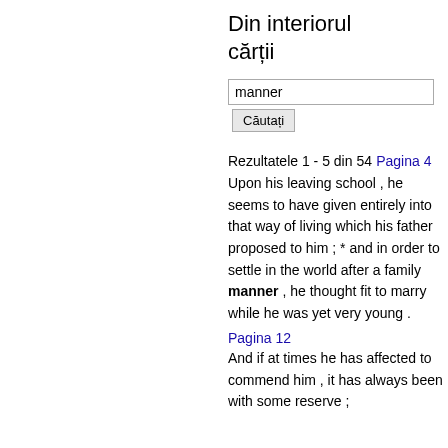Din interiorul cărții
manner
Căutați
Rezultatele 1 - 5 din 54
Pagina 4
Upon his leaving school , he seems to have given entirely into that way of living which his father proposed to him ; * and in order to settle in the world after a family manner , he thought fit to marry while he was yet very young .
Pagina 12
And if at times he has affected to commend him , it has always been with some reserve ;